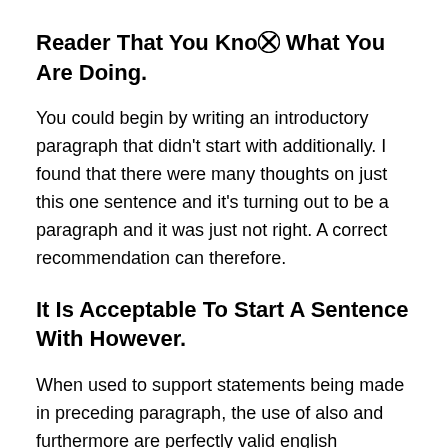Reader That You Knoⓧ What You Are Doing.
You could begin by writing an introductory paragraph that didn't start with additionally. I found that there were many thoughts on just this one sentence and it's turning out to be a paragraph and it was just not right. A correct recommendation can therefore.
It Is Acceptable To Start A Sentence With However.
When used to support statements being made in preceding paragraph, the use of also and furthermore are perfectly valid english constructs. No one has yet mentioned that however isⓧsed as two different parts